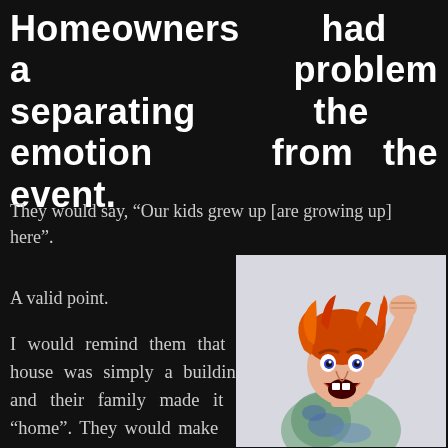Homeowners had a problem separating the emotion from the event.
They would say, “Our kids grew up [are growing up] here”.
A valid point.
I would remind them that a house was simply a building and their family made it a “home”. They would make a home
[Figure (illustration): Illustration of an angry woman with red/orange hair, screaming with fist raised, wearing a t-shirt with paint splatters, on a light grey background.]